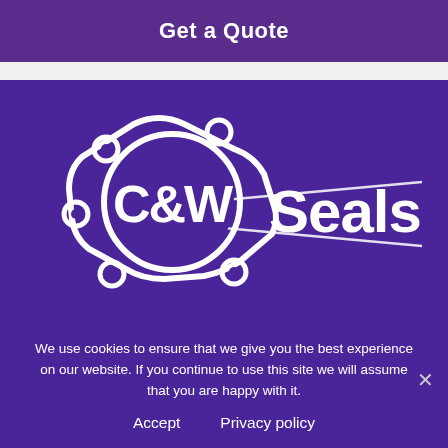Get a Quote
[Figure (logo): C&W Seals logo — white gasket/seal shape with bolt holes and speed lines on purple background, with text 'C&W Seals']
We use cookies to ensure that we give you the best experience on our website. If you continue to use this site we will assume that you are happy with it.
Accept   Privacy policy